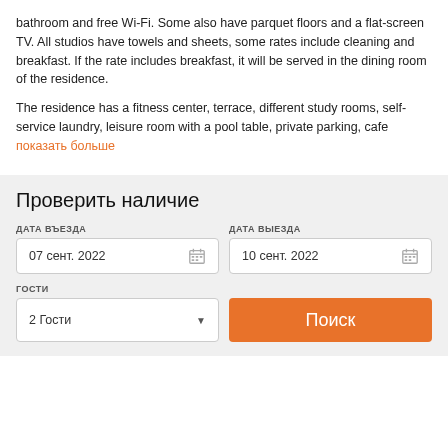bathroom and free Wi-Fi. Some also have parquet floors and a flat-screen TV. All studios have towels and sheets, some rates include cleaning and breakfast. If the rate includes breakfast, it will be served in the dining room of the residence.
The residence has a fitness center, terrace, different study rooms, self-service laundry, leisure room with a pool table, private parking, cafe показать больше
Проверить наличие
ДАТА ВЪЕЗДА
07 сент. 2022
ДАТА ВЫЕЗДА
10 сент. 2022
ГОСТИ
2 Гости
Поиск